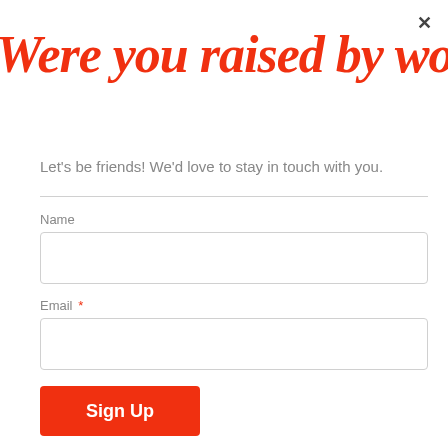Were you raised by wolves?
Let's be friends! We'd love to stay in touch with you.
Name
Email *
Sign Up